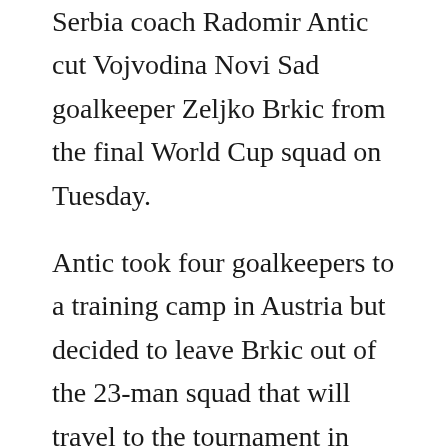Serbia coach Radomir Antic cut Vojvodina Novi Sad goalkeeper Zeljko Brkic from the final World Cup squad on Tuesday.

Antic took four goalkeepers to a training camp in Austria but decided to leave Brkic out of the 23-man squad that will travel to the tournament in South Africa.

“I had to leave one player out and such a decision is never easy to make. I told Zeljko that being in the training camp should be a